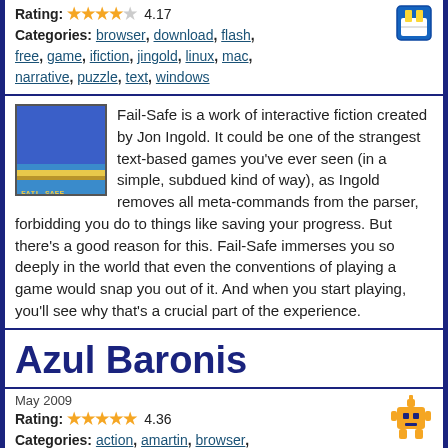Rating: 4.17
Categories: browser, download, flash, free, game, ifiction, jingold, linux, mac, narrative, puzzle, text, windows
Fail-Safe is a work of interactive fiction created by Jon Ingold. It could be one of the strangest text-based games you've ever seen (in a simple, subdued kind of way), as Ingold removes all meta-commands from the parser, forbidding you do to things like saving your progress. But there's a good reason for this. Fail-Safe immerses you so deeply in the world that even the conventions of playing a game would snap you out of it. And when you start playing, you'll see why that's a crucial part of the experience.
Azul Baronis
May 2009
Rating: 4.36
Categories: action, amartin, browser, combat, flash, free, game, jpacanowski, linux, mac, space, windows